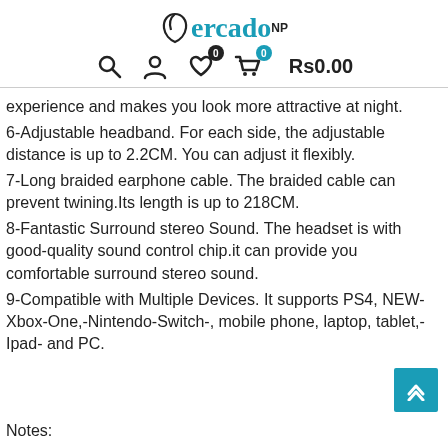MercadoNP — navigation header with search, account, wishlist (0), cart (0), Rs0.00
experience and makes you look more attractive at night.
6-Adjustable headband. For each side, the adjustable distance is up to 2.2CM. You can adjust it flexibly.
7-Long braided earphone cable. The braided cable can prevent twining.Its length is up to 218CM.
8-Fantastic Surround stereo Sound. The headset is with good-quality sound control chip.it can provide you comfortable surround stereo sound.
9-Compatible with Multiple Devices. It supports PS4, NEW-Xbox-One,-Nintendo-Switch-, mobile phone, laptop, tablet,-Ipad- and PC.
Notes: